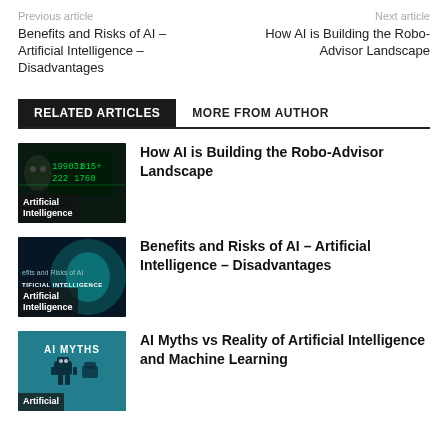Previous article | Next article
Benefits and Risks of AI – Artificial Intelligence – Disadvantages
How AI is Building the Robo-Advisor Landscape
RELATED ARTICLES   MORE FROM AUTHOR
[Figure (photo): Thumbnail image for 'How AI is Building the Robo-Advisor Landscape' showing a robotic face with green digital display]
How AI is Building the Robo-Advisor Landscape
[Figure (photo): Thumbnail image for 'Benefits and Risks of AI – Artificial Intelligence' showing blue/teal background with text overlay]
Benefits and Risks of AI – Artificial Intelligence – Disadvantages
[Figure (photo): Thumbnail image for 'AI Myths vs Reality of Artificial Intelligence and Machine Learning' showing teal background with AI Myths text and robot illustration]
AI Myths vs Reality of Artificial Intelligence and Machine Learning